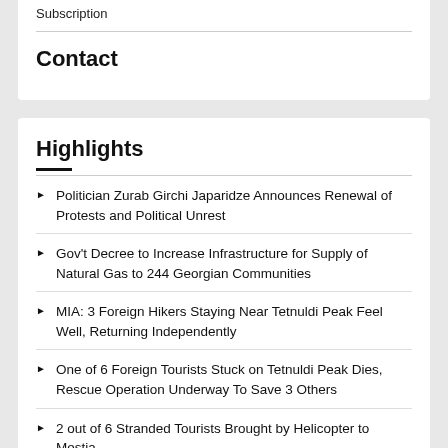Subscription
Contact
Highlights
Politician Zurab Girchi Japaridze Announces Renewal of Protests and Political Unrest
Gov't Decree to Increase Infrastructure for Supply of Natural Gas to 244 Georgian Communities
MIA: 3 Foreign Hikers Staying Near Tetnuldi Peak Feel Well, Returning Independently
One of 6 Foreign Tourists Stuck on Tetnuldi Peak Dies, Rescue Operation Underway To Save 3 Others
2 out of 6 Stranded Tourists Brought by Helicopter to Mestia